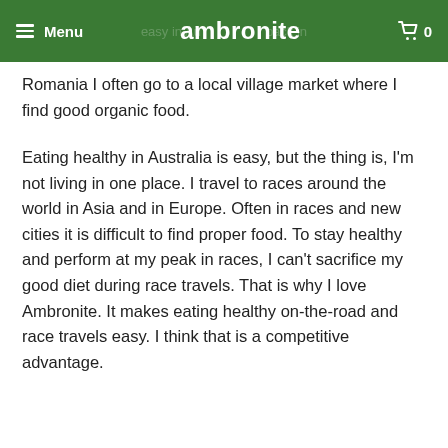Menu | ambronite | 0
Romania I often go to a local village market where I find good organic food.
Eating healthy in Australia is easy, but the thing is, I'm not living in one place. I travel to races around the world in Asia and in Europe. Often in races and new cities it is difficult to find proper food. To stay healthy and perform at my peak in races, I can't sacrifice my good diet during race travels. That is why I love Ambronite. It makes eating healthy on-the-road and race travels easy. I think that is a competitive advantage.